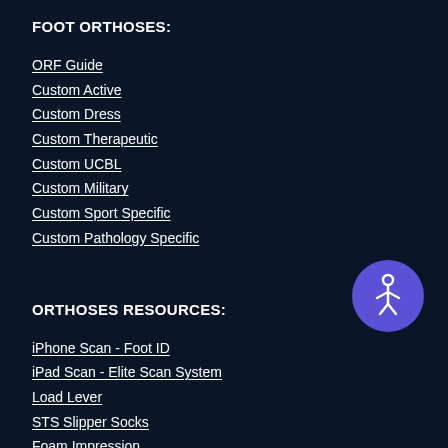FOOT ORTHOSES:
ORF Guide
Custom Active
Custom Dress
Custom Therapeutic
Custom UCBL
Custom Military
Custom Sport Specific
Custom Pathology Specific
[Figure (illustration): Accessibility icon button - purple circle with white person/wheelchair symbol]
ORTHOSES RESOURCES:
iPhone Scan - Foot ID
iPad Scan - Elite Scan System
Load Lever
STS Slipper Socks
Foam Impression
Order Form: Orthoses